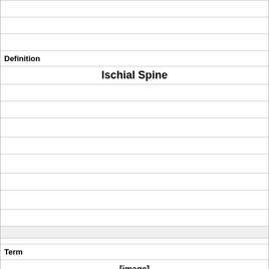Definition
Ischial Spine
Term
[Figure (other): [image]]